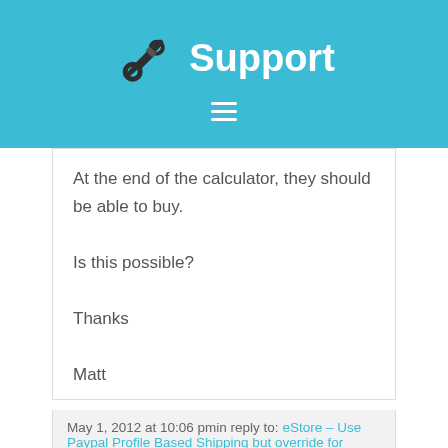Support
At the end of the calculator, they should be able to buy.

Is this possible?

Thanks

Matt
May 1, 2012 at 10:06 pmin reply to: eStore – Use Paypal Profile Based Shipping but override for downloadable product #44628
amillioninthemaking
Member